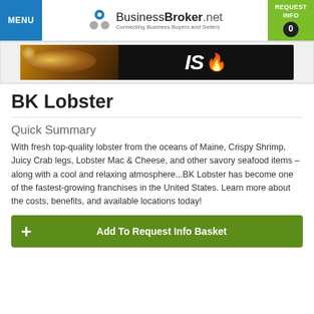MENU | BusinessBroker.net Connecting Business Buyers and Sellers | REQUEST INFO 0
[Figure (photo): Advertisement banner showing food (mixed grains/snacks in a bowl) with dark background and text 'IS' with flame emoji]
BK Lobster
Quick Summary
With fresh top-quality lobster from the oceans of Maine, Crispy Shrimp, Juicy Crab legs, Lobster Mac & Cheese, and other savory seafood items – along with a cool and relaxing atmosphere...BK Lobster has become one of the fastest-growing franchises in the United States. Learn more about the costs, benefits, and available locations today!
Add To Request Info Basket